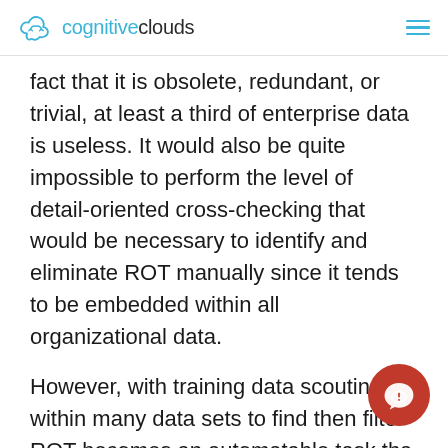cognitiveclouds
fact that it is obsolete, redundant, or trivial, at least a third of enterprise data is useless. It would also be quite impossible to perform the level of detail-oriented cross-checking that would be necessary to identify and eliminate ROT manually since it tends to be embedded within all organizational data.
However, with training data scouting within many data sets to find then filter ROT becomes an automatable task tha can be performed with a high degree o